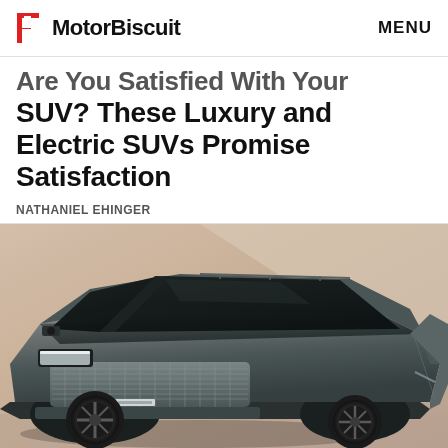MotorBiscuit  MENU
Are You Satisfied With Your SUV? These Luxury and Electric SUVs Promise Satisfaction
NATHANIEL EHINGER
[Figure (photo): Front three-quarter view of a futuristic luxury electric SUV concept car with distinctive mesh grille and dark glass, photographed in a studio with warm beige/tan background]